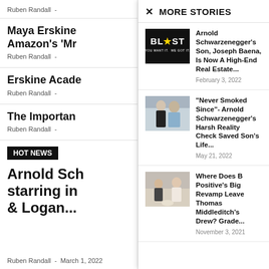Ruben Randall  -
Maya Erskine Amazon's 'Mr
Ruben Randall  -
Erskine Acade
Ruben Randall  -
The Importan
Ruben Randall  -
HOT NEWS
Arnold Sch starring in & Logan...
Ruben Randall  -  March 1, 2022
MORE STORIES
Arnold Schwarzenegger's Son, Joseph Baena, Is Now A High-End Real Estate...
February 3, 2022
“Never Smoked Since”- Arnold Schwarzenegger’s Harsh Reality Check Saved Son’s Life...
May 21, 2022
Where Does B Positive’s Big Revamp Leave Thomas Middleditch’s Drew? Grade...
November 3, 2021